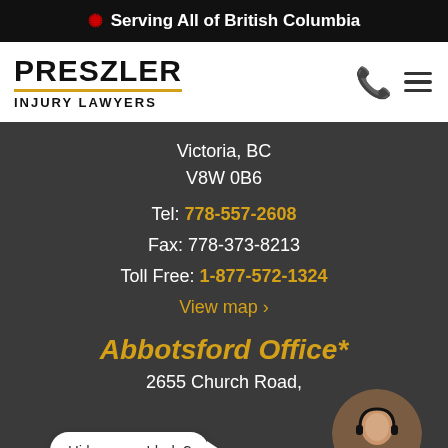🍁 Serving All of British Columbia
[Figure (logo): Preszler Injury Lawyers logo with gold underline, phone icon and hamburger menu icon]
Victoria, BC
V8W 0B6
Tel: 778-557-2608
Fax: 778-373-8213
Toll Free: 1-877-572-1324
View map ›
Abbotsford Office*
2655 Church Road,
Abbotsford, BC
[Figure (photo): Customer service agent with headset, with 'Hi how can I help?' chat bubble overlay and green online indicator dot]